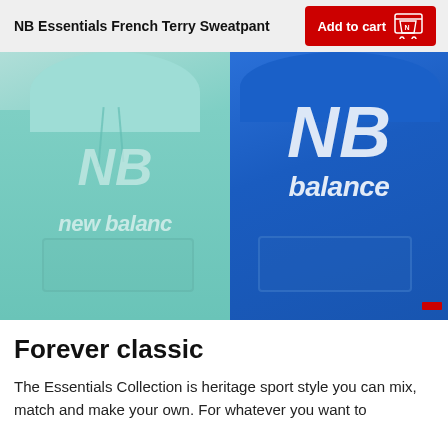NB Essentials French Terry Sweatpant
[Figure (photo): Two people wearing New Balance hoodies — one in a mint/teal hoodie on the left, one in a royal blue hoodie on the right. Both hoodies feature the New Balance logo and 'new balance' text.]
Forever classic
The Essentials Collection is heritage sport style you can mix, match and make your own. For whatever you want to